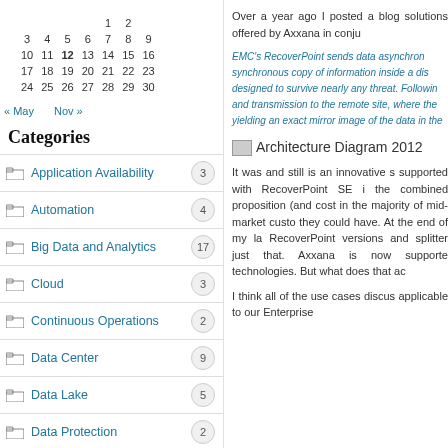|  | 1 | 2 |
| 3 | 4 | 5 | 6 | 7 | 8 | 9 |
| 10 | 11 | 12 | 13 | 14 | 15 | 16 |
| 17 | 18 | 19 | 20 | 21 | 22 | 23 |
| 24 | 25 | 26 | 27 | 28 | 29 | 30 |
« May    Nov »
Categories
Application Availability (3)
Automation (4)
Big Data and Analytics (17)
Cloud (3)
Continuous Operations (2)
Data Center (9)
Data Lake (5)
Data Protection (2)
Over a year ago I posted a blog solutions offered by Axxana in conju
EMC's RecoverPoint sends data asynchron synchronous copy of information inside a dis designed to survive nearly any threat. Followin and transmission to the remote site, where the yielding an exact mirror image of the data in the
[Figure (other): Architecture Diagram 2012 - small placeholder image with text label]
It was and still is an innovative s supported with RecoverPoint SE i the combined proposition (and cost in the majority of mid-market custo they could have. At the end of my la RecoverPoint versions and splitter just that. Axxana is now supporte technologies. But what does that ac
I think all of the use cases discus applicable to our Enterprise